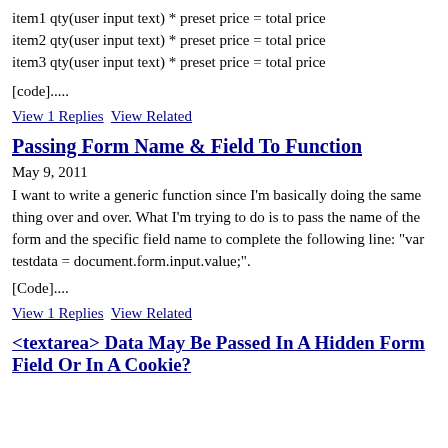item1 qty(user input text) * preset price = total price
item2 qty(user input text) * preset price = total price
item3 qty(user input text) * preset price = total price
[code].....
View 1 Replies   View Related
Passing Form Name & Field To Function
May 9, 2011
I want to write a generic function since I'm basically doing the same thing over and over. What I'm trying to do is to pass the name of the form and the specific field name to complete the following line: "var testdata = document.form.input.value;".
[Code]....
View 1 Replies   View Related
<textarea> Data May Be Passed In A Hidden Form Field Or In A Cookie?